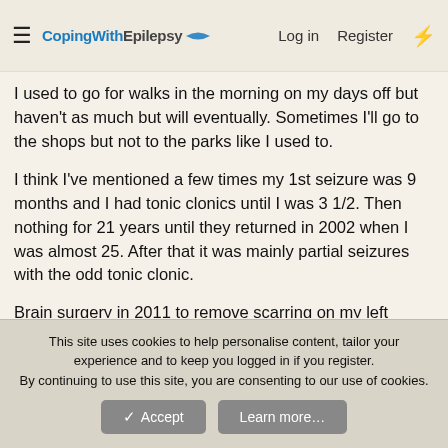CopingWithEpilepsy — Log in  Register
I used to go for walks in the morning on my days off but haven't as much but will eventually. Sometimes I'll go to the shops but not to the parks like I used to.
I think I've mentioned a few times my 1st seizure was 9 months and I had tonic clonics until I was 3 1/2. Then nothing for 21 years until they returned in 2002 when I was almost 25. After that it was mainly partial seizures with the odd tonic clonic.
Brain surgery in 2011 to remove scarring on my left temporal lobe. After the surgery when I went 12 months seizure free the neurologist and I discussed taking me off one of the 2 meds I was on either Tegretol or Keppra. It took 12 months but in 2013 I came off tegretol. Not long after I started having funny episodes,
This site uses cookies to help personalise content, tailor your experience and to keep you logged in if you register.
By continuing to use this site, you are consenting to our use of cookies.
Accept  Learn more...